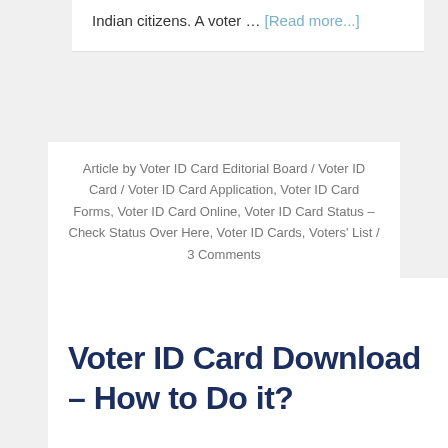Indian citizens. A voter … [Read more...]
Article by Voter ID Card Editorial Board / Voter ID Card / Voter ID Card Application, Voter ID Card Forms, Voter ID Card Online, Voter ID Card Status – Check Status Over Here, Voter ID Cards, Voters' List / 3 Comments
March 18, 2019
Voter ID Card Download – How to Do it?